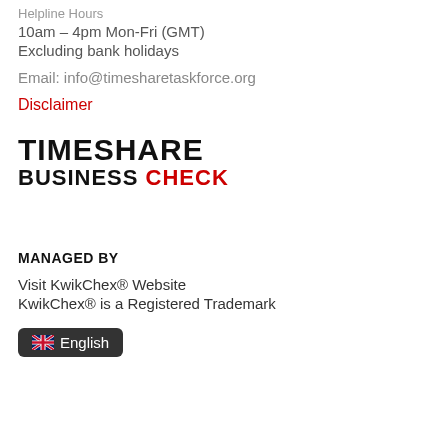Helpline Hours
10am – 4pm Mon-Fri (GMT)
Excluding bank holidays
Email: info@timesharetaskforce.org
Disclaimer
[Figure (logo): Timeshare Business Check logo with TIMESHARE in large bold black text and BUSINESS CHECK below with BUSINESS in black and CHECK in red]
MANAGED BY
Visit KwikChex® Website
KwikChex® is a Registered Trademark
[Figure (other): Language selector button with UK flag showing English]